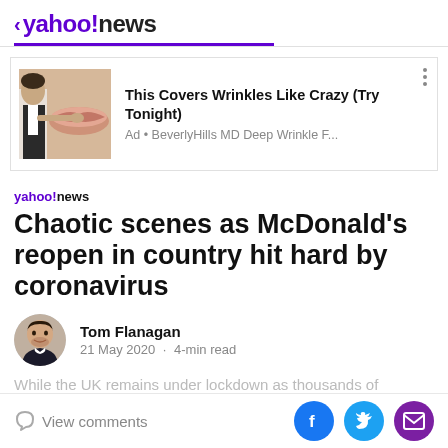< yahoo!news
[Figure (photo): Advertisement: person applying product near face, with close-up of skin. Title: This Covers Wrinkles Like Crazy (Try Tonight). Ad · BeverlyHills MD Deep Wrinkle F...]
Chaotic scenes as McDonald's reopen in country hit hard by coronavirus
Tom Flanagan
21 May 2020 · 4-min read
While the UK remains under lockdown as thousands of
View comments